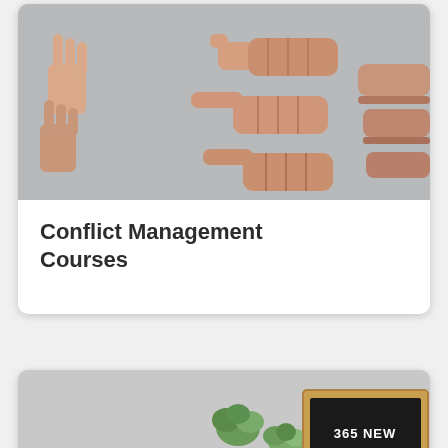[Figure (photo): Photograph of multiple hands pointing fingers at two open palms in a defensive gesture, conflict concept image, gray background]
Conflict Management Courses
[Figure (photo): Overhead flat lay photo of a notebook, pencil, two small succulent plants, and a black letter board displaying '365 NEW DAYS 365 NEW CHANCES', on a gray surface]